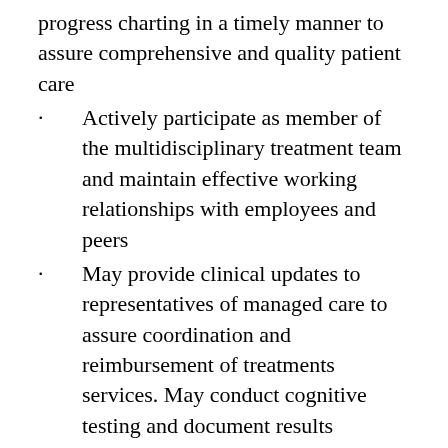progress charting in a timely manner to assure comprehensive and quality patient care
Actively participate as member of the multidisciplinary treatment team and maintain effective working relationships with employees and peers
May provide clinical updates to representatives of managed care to assure coordination and reimbursement of treatments services. May conduct cognitive testing and document results
Coordinate with community based providers and referral sources to ensure optimal levels of care post discharge and to maximize treatment outcomes